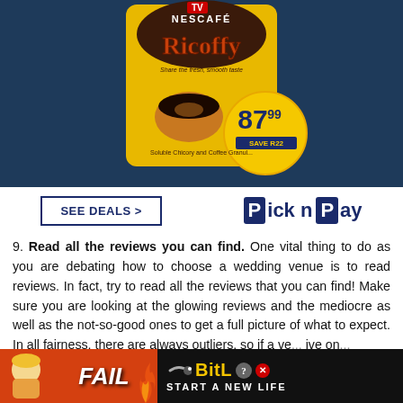[Figure (photo): Nescafe Ricoffy coffee product advertisement banner with dark blue background, yellow product package showing price 87.99 and SAVE R22, SEE DEALS button, and Pick n Pay logo]
9. Read all the reviews you can find. One vital thing to do as you are debating how to choose a wedding venue is to read reviews. In fact, try to read all the reviews that you can find! Make sure you are looking at the glowing reviews and the mediocre as well as the not-so-good ones to get a full picture of what to expect. In all fairness, there are always outliers, so if a ve... ive on...
[Figure (photo): BitLife mobile game advertisement with orange and black background, FAIL text, cartoon character, flames, and START A NEW LIFE text]